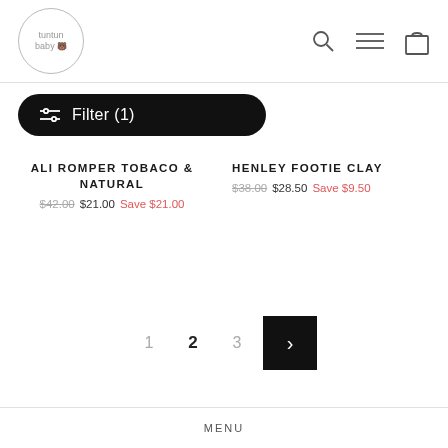[Figure (logo): tuntun baby circular logo with small baby face icon]
[Figure (illustration): Header icons: search magnifier, hamburger menu, shopping bag]
[Figure (other): Black pill-shaped Filter (1) button with slider icon]
ALI ROMPER TOBACO & NATURAL
$42.00 $21.00 Save $21.00
HENLEY FOOTIE CLAY
$38.00 $28.50 Save $9.50
1  2  3  >
MENU